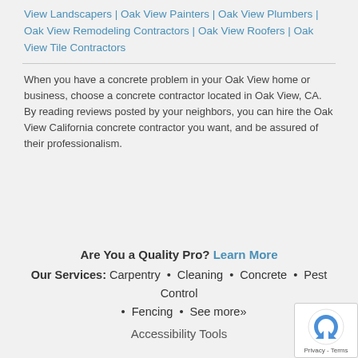View Landscapers | Oak View Painters | Oak View Plumbers | Oak View Remodeling Contractors | Oak View Roofers | Oak View Tile Contractors
When you have a concrete problem in your Oak View home or business, choose a concrete contractor located in Oak View, CA.
By reading reviews posted by your neighbors, you can hire the Oak View California concrete contractor you want, and be assured of their professionalism.
Are You a Quality Pro? Learn More
Our Services: Carpentry • Cleaning • Concrete • Pest Control • Fencing • See more»
Accessibility Tools